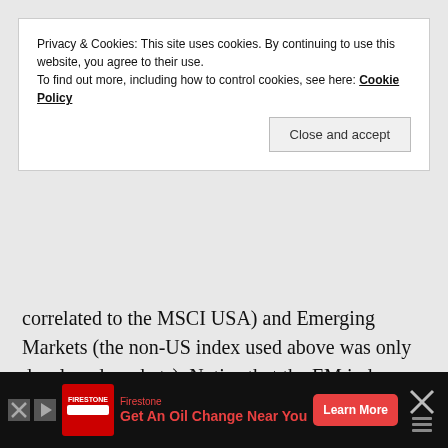Privacy & Cookies: This site uses cookies. By continuing to use this website, you agree to their use.
To find out more, including how to control cookies, see here: Cookie Policy
Close and accept
correlated to the MSCI USA) and Emerging Markets (the non-US index used above was only developed markets). Notice that the EM index became available only in December 1987.
[Figure (other): Empty chart placeholder box with light gray background]
Firestone Get An Oil Change Near You — Learn More